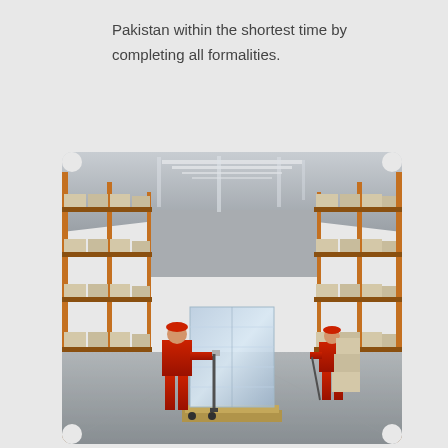Pakistan within the shortest time by completing all formalities.
[Figure (photo): Warehouse interior with two workers in red uniforms and hard hats operating hand pallet trucks, moving a large plastic-wrapped pallet. High shelving racks stacked with cardboard boxes on both sides, fluorescent lighting overhead.]